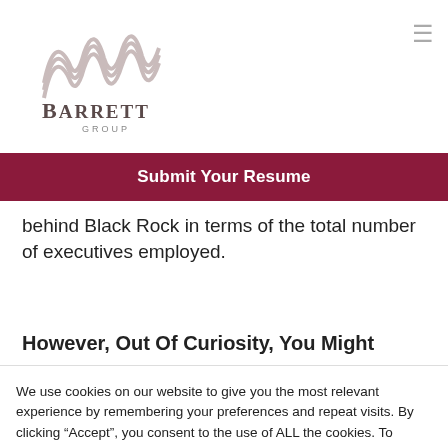[Figure (logo): Barrett Group logo with stylized M/waves above the text 'BARRETT GROUP']
Submit Your Resume
behind Black Rock in terms of the total number of executives employed.
However, Out Of Curiosity, You Might
We use cookies on our website to give you the most relevant experience by remembering your preferences and repeat visits. By clicking “Accept”, you consent to the use of ALL the cookies. To configure your cookie preferences, please click ‘Cookie settings’. Do not sell my personal information.
Cookie settings  ACCEPT  REJECT